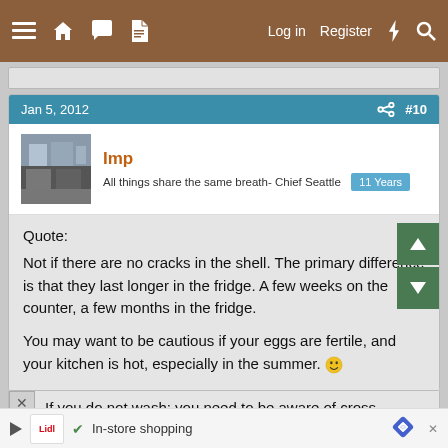≡ 🏠 💬 📄   Log in   Register   ⚡   🔍
Jan 5, 2012   #10
Imp
All things share the same breath- Chief Seattle   11 Years
Quote:
Not if there are no cracks in the shell. The primary difference is that they last longer in the fridge. A few weeks on the counter, a few months in the fridge.

You may want to be cautious if your eggs are fertile, and your kitchen is hot, especially in the summer. 😊

If you do not cross conta...
✔ In-store shopping